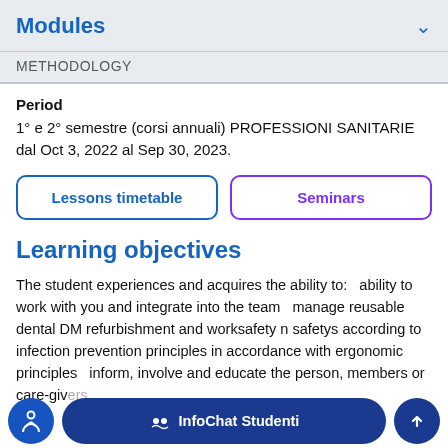Modules
METHODOLOGY
Period
1° e 2° semestre (corsi annuali) PROFESSIONI SANITARIE dal Oct 3, 2022 al Sep 30, 2023.
Lessons timetable
Seminars
Learning objectives
The student experiences and acquires the ability to:   ability to work with you and integrate into the team   manage reusable dental DM refurbishment and worksafety n safetys according to infection prevention principles in accordance with ergonomic principles   inform, involve and educate the person, members or care-givers   monitoring – assessment – objective examination of the oral